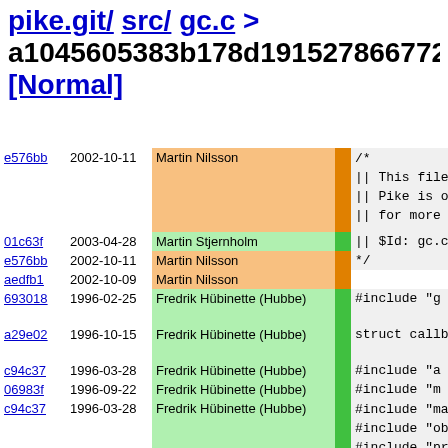pike.git/ src/ gc.c > a1045605383b178d191527866772... [Normal]
| Hash | Date | Author | Bar | Code |
| --- | --- | --- | --- | --- |
| e576bb | 2002-10-11 | Martin Nilsson |  | /*
|| This file
|| Pike is o
|| for more |
| 01c63f | 2003-04-28 | Martin Stjernholm |  | || $Id: gc.c |
| e576bb | 2002-10-11 | Martin Nilsson |  | */ |
| aedfb1 | 2002-10-09 | Martin Nilsson |  |  |
| 693018 | 1996-02-25 | Fredrik Hübinette (Hubbe) |  | #include "g |
| a29e02 | 1996-10-15 | Fredrik Hübinette (Hubbe) |  | struct callb |
| c94c37 | 1996-03-28 | Fredrik Hübinette (Hubbe) |  | #include "a |
| 06983f | 1996-09-22 | Fredrik Hübinette (Hubbe) |  | #include "m |
| c94c37 | 1996-03-28 | Fredrik Hübinette (Hubbe) |  | #include "ma
#include "ob
#include "pr |